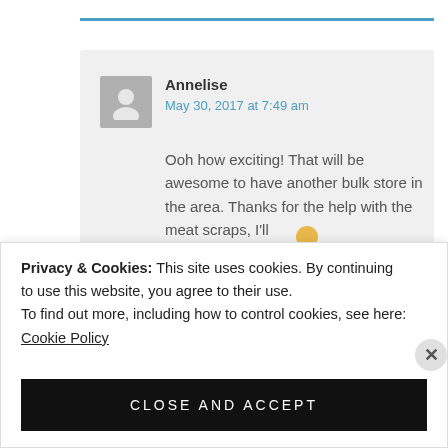Annelise
May 30, 2017 at 7:49 am
Ooh how exciting! That will be awesome to have another bulk store in the area. Thanks for the help with the meat scraps, I'll
Privacy & Cookies: This site uses cookies. By continuing to use this website, you agree to their use.
To find out more, including how to control cookies, see here: Cookie Policy
CLOSE AND ACCEPT